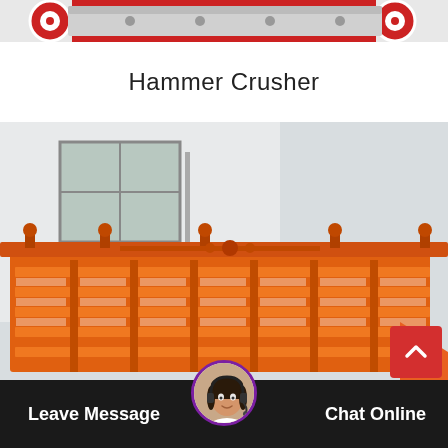[Figure (photo): Top portion of a large industrial crusher machine with red and white circular components visible against white background]
Hammer Crusher
[Figure (photo): Orange industrial vibrating screen / sieving machine with metal grid frame and structural supports, photographed outdoors in front of a building]
[Figure (other): Scroll-to-top button (red background with white chevron/arrow)]
Leave Message
[Figure (photo): Circular avatar of female customer service agent wearing headset]
Chat Online